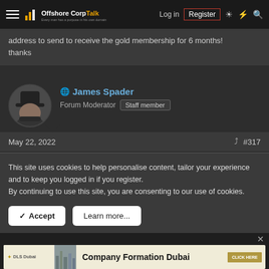OffshoreCorpTalk — Log in | Register
address to send to receive the gold membership for 6 months! thanks
🌐 James Spader
Forum Moderator   Staff member
May 22, 2022   #317
This site uses cookies to help personalise content, tailor your experience and to keep you logged in if you register.
By continuing to use this site, you are consenting to our use of cookies.
✓ Accept   Learn more...
[Figure (screenshot): DLS Dubai advertisement banner: Company Formation Dubai with CLICK HERE button]